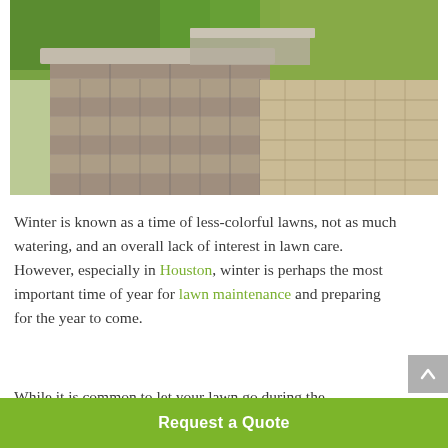[Figure (photo): Outdoor stone retaining wall with cap stones and paved stone patio/driveway, green plants and lawn in background]
Winter is known as a time of less-colorful lawns, not as much watering, and an overall lack of interest in lawn care. However, especially in Houston, winter is perhaps the most important time of year for lawn maintenance and preparing for the year to come.
While it is common to let your lawn go during the
Request a Quote